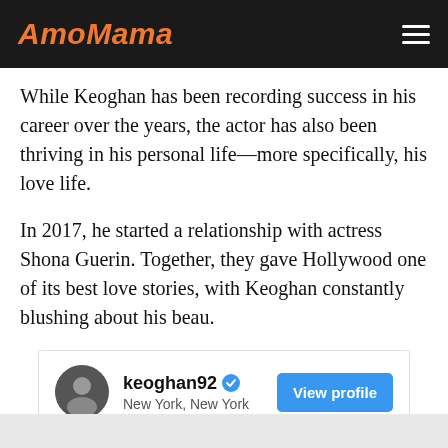AmoMama
While Keoghan has been recording success in his career over the years, the actor has also been thriving in his personal life—more specifically, his love life.
In 2017, he started a relationship with actress Shona Guerin. Together, they gave Hollywood one of its best love stories, with Keoghan constantly blushing about his beau.
[Figure (screenshot): Instagram profile embed for keoghan92 located in New York, New York with a View profile button and a gray image area below.]